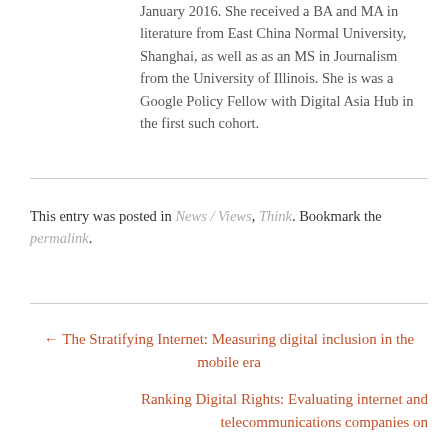January 2016. She received a BA and MA in literature from East China Normal University, Shanghai, as well as as an MS in Journalism from the University of Illinois. She is was a Google Policy Fellow with Digital Asia Hub in the first such cohort.
This entry was posted in News / Views, Think. Bookmark the permalink.
← The Stratifying Internet: Measuring digital inclusion in the mobile era
Ranking Digital Rights: Evaluating internet and telecommunications companies on